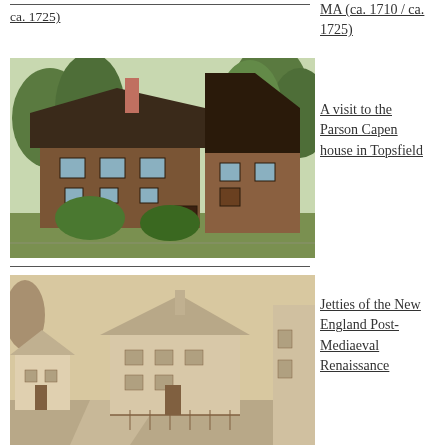MA (ca. 1710 / ca. 1725)
[Figure (photo): Photograph of the Parson Capen house in Topsfield, MA — a brown wooden colonial house with steep roof, chimney, surrounded by green trees]
A visit to the Parson Capen house in Topsfield
[Figure (photo): Sepia-toned historical photograph of New England colonial buildings showing jetties typical of Post-Mediaeval Renaissance style]
Jetties of the New England Post-Mediaeval Renaissance